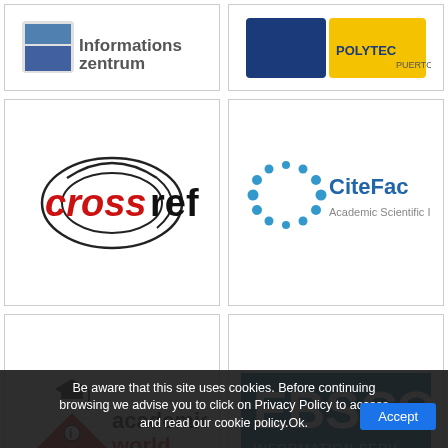[Figure (logo): Informationszentrum logo with icon and text]
[Figure (logo): Polytechnic Puerto Rico logo (partially visible)]
[Figure (logo): CrossRef logo - red 'cross' text and black 'ref' with looping lines]
[Figure (logo): CiteFactor Academic Scientific logo with blue dot circle graphic]
[Figure (logo): Academics World logo - graduation cap on open book, black and red text]
[Figure (logo): EBSCO Information Services logo - blue background with white text]
[Figure (logo): Google Scholar logo in multicolor text]
[Figure (logo): Scholarsteer Scholarly Information logo with figure graphic]
[Figure (logo): Circular badge logo (partially visible)]
[Figure (logo): Open Access logo (partially visible)]
Be aware that this site uses cookies. Before continuing browsing we advise you to click on Privacy Policy to access and read our cookie policy.Ok.